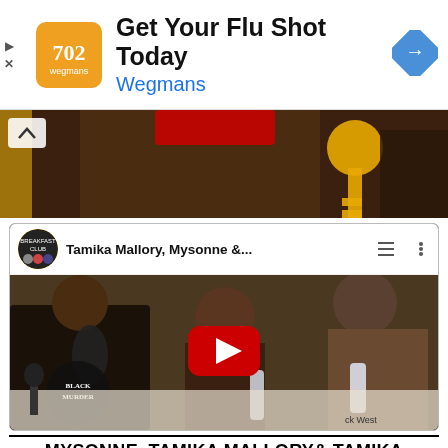[Figure (screenshot): Advertisement banner: Wegmans 'Get Your Flu Shot Today' ad with orange logo, text, and blue navigation arrow icon. Play and close controls on the left.]
[Figure (screenshot): Partial video thumbnail showing people at a live event, with a collapse chevron button overlay.]
[Figure (screenshot): YouTube embedded video thumbnail for 'Tamika Mallory, Mysonne &...' from Breakfast Club channel. Shows podcast studio with three guests, YouTube play button overlay.]
MYSONNE, TAMIKA MALLORY & TAMIKA PALMER